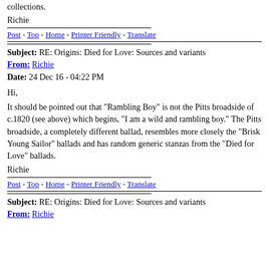collections.
Richie
Post - Top - Home - Printer Friendly - Translate
Subject: RE: Origins: Died for Love: Sources and variants
From: Richie
Date: 24 Dec 16 - 04:22 PM
Hi,
It should be pointed out that "Rambling Boy" is not the Pitts broadside of c.1820 (see above) which begins, "I am a wild and rambling boy." The Pitts broadside, a completely different ballad, resembles more closely the "Brisk Young Sailor" ballads and has random generic stanzas from the "Died for Love" ballads.
Richie
Post - Top - Home - Printer Friendly - Translate
Subject: RE: Origins: Died for Love: Sources and variants
From: Richie